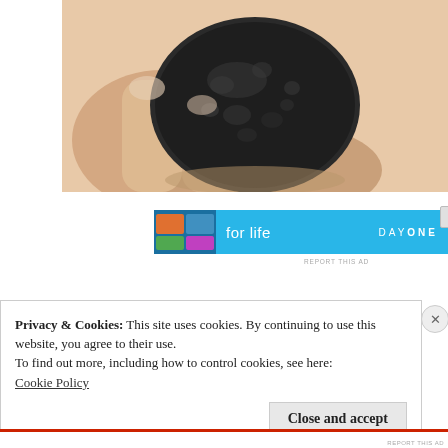[Figure (photo): A dark, rough-textured ancient coin or artifact held between two fingers against a light background. The object is oval/round, blackened, and shows faint surface markings.]
[Figure (other): Advertisement banner with light blue background showing 'for life' text and 'DAYONE' branding with a thumbnail image on the left.]
Privacy & Cookies: This site uses cookies. By continuing to use this website, you agree to their use.
To find out more, including how to control cookies, see here:
Cookie Policy
Close and accept